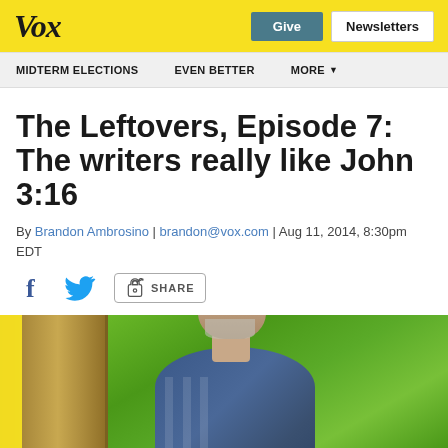Vox | Give | Newsletters
MIDTERM ELECTIONS | EVEN BETTER | MORE
The Leftovers, Episode 7: The writers really like John 3:16
By Brandon Ambrosino | brandon@vox.com | Aug 11, 2014, 8:30pm EDT
[Figure (other): Social sharing icons: Facebook, Twitter, and Share button]
[Figure (photo): Photo of an older man with gray-white hair and beard wearing a blue plaid shirt, photographed outdoors among green foliage with a log or tree trunk in the foreground]